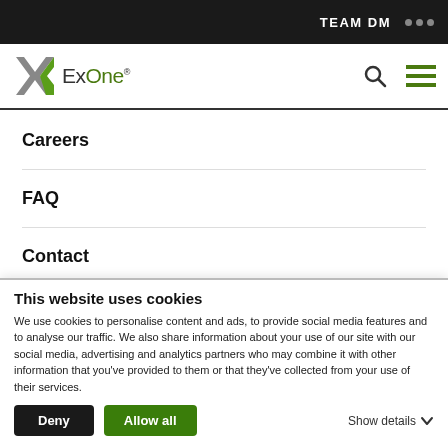TEAM DM
[Figure (logo): ExOne company logo with stylized X in grey/green and ExOne wordmark]
Careers
FAQ
Contact
Sitemap
This website uses cookies
We use cookies to personalise content and ads, to provide social media features and to analyse our traffic. We also share information about your use of our site with our social media, advertising and analytics partners who may combine it with other information that you've provided to them or that they've collected from your use of their services.
Deny | Allow all | Show details